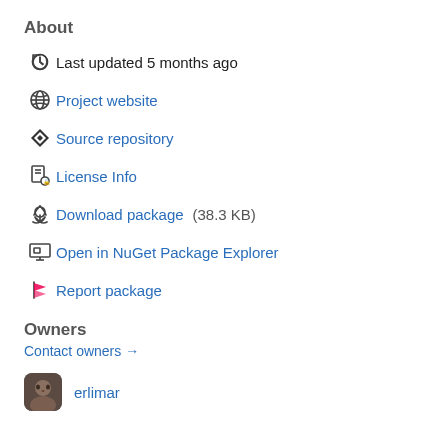About
Last updated 5 months ago
Project website
Source repository
License Info
Download package  (38.3 KB)
Open in NuGet Package Explorer
Report package
Owners
Contact owners →
erlimar